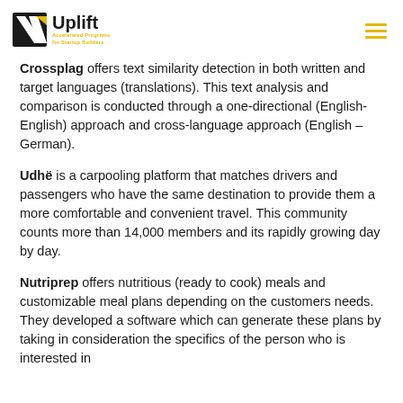Uplift — Accelerated Programs for Startup Builders
Crossplag offers text similarity detection in both written and target languages (translations). This text analysis and comparison is conducted through a one-directional (English-English) approach and cross-language approach (English – German).
Udhë is a carpooling platform that matches drivers and passengers who have the same destination to provide them a more comfortable and convenient travel. This community counts more than 14,000 members and its rapidly growing day by day.
Nutriprep offers nutritious (ready to cook) meals and customizable meal plans depending on the customers needs. They developed a software which can generate these plans by taking in consideration the specifics of the person who is interested in